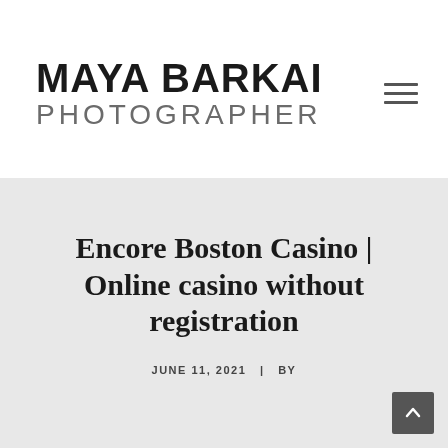MAYA BARKAI PHOTOGRAPHER
Encore Boston Casino | Online casino without registration
JUNE 11, 2021  |  BY